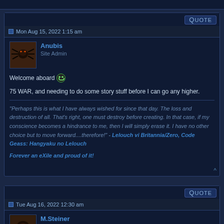Mon Aug 15, 2022 1:15 am
Anubis
Site Admin
Welcome aboard 🙂

75 WAR, and needing to do some story stuff before I can go any higher.
"Perhaps this is what I have always wished for since that day. The loss and destruction of all. That's right, one must destroy before creating. In that case, if my conscience becomes a hindrance to me, then I will simply erase it. I have no other choice but to move forward....therefore!" - Lelouch vi Britannia/Zero, Code Geass: Hangyaku no Lelouch

Forever an eXile and proud of it!
Tue Aug 16, 2022 12:30 am
M.Steiner